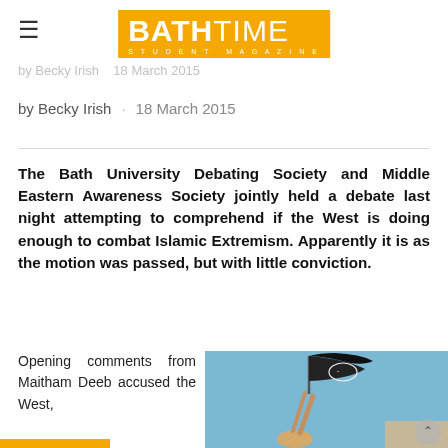BATH TIME STUDENT MAGAZINE
by Becky Irish   18 March 2015
by Becky Irish · 18 March 2015
The Bath University Debating Society and Middle Eastern Awareness Society jointly held a debate last night attempting to comprehend if the West is doing enough to combat Islamic Extremism. Apparently it is as the motion was passed, but with little conviction.
Opening comments from Maitham Deeb accused the West,
[Figure (photo): Person holding a black flag against a blue sky background]